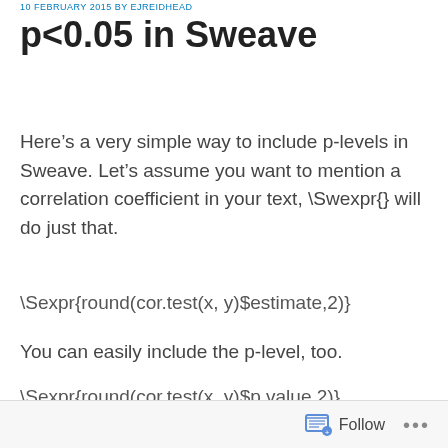10 FEBRUARY 2015 BY EJREIDHEAD
p<0.05 in Sweave
Here’s a very simple way to include p-levels in Sweave. Let’s assume you want to mention a correlation coefficient in your text, \Swexpr{} will do just that.
\Sexpr{round(cor.test(x, y)$estimate,2)}
You can easily include the p-level, too.
\Sexpr{round(cor.test(x, y)$p.value,2)}
Follow •••